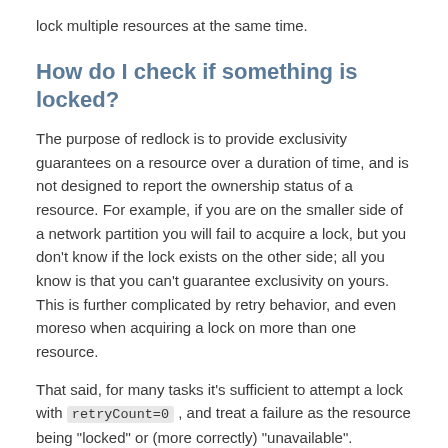lock multiple resources at the same time.
How do I check if something is locked?
The purpose of redlock is to provide exclusivity guarantees on a resource over a duration of time, and is not designed to report the ownership status of a resource. For example, if you are on the smaller side of a network partition you will fail to acquire a lock, but you don't know if the lock exists on the other side; all you know is that you can't guarantee exclusivity on yours. This is further complicated by retry behavior, and even moreso when acquiring a lock on more than one resource.
That said, for many tasks it's sufficient to attempt a lock with retryCount=0 , and treat a failure as the resource being "locked" or (more correctly) "unavailable".